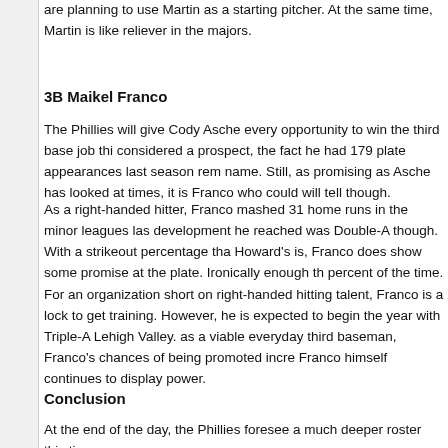are planning to use Martin as a starting pitcher. At the same time, Martin is like reliever in the majors.
3B Maikel Franco
The Phillies will give Cody Asche every opportunity to win the third base job thi considered a prospect, the fact he had 179 plate appearances last season rem name. Still, as promising as Asche has looked at times, it is Franco who could will tell though.
As a right-handed hitter, Franco mashed 31 home runs in the minor leagues las development he reached was Double-A though. With a strikeout percentage tha Howard's is, Franco does show some promise at the plate. Ironically enough th percent of the time.
For an organization short on right-handed hitting talent, Franco is a lock to get training. However, he is expected to begin the year with Triple-A Lehigh Valley. as a viable everyday third baseman, Franco's chances of being promoted incre Franco himself continues to display power.
Conclusion
At the end of the day, the Phillies foresee a much deeper roster this time aroun